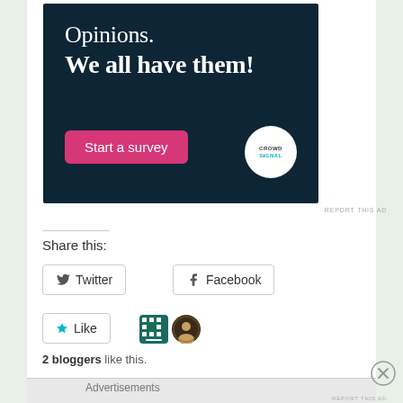[Figure (advertisement): Dark navy blue advertisement banner for Crowdsignal survey tool. Text reads 'Opinions. We all have them!' with a pink 'Start a survey' button and white circular Crowdsignal logo.]
REPORT THIS AD
Share this:
Twitter
Facebook
Like
2 bloggers like this.
Advertisements
REPORT THIS AD